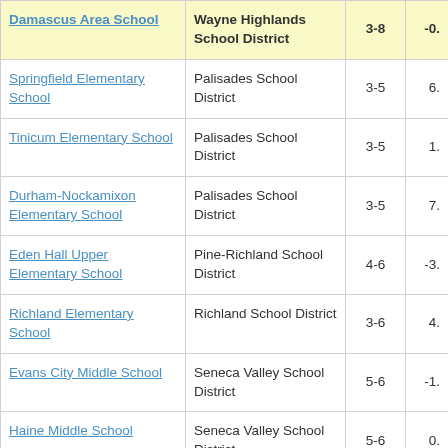| School | District | Grades | Value |
| --- | --- | --- | --- |
| Damascus Area School | Wayne Highlands School District | 3-8 | -0. |
| Springfield Elementary School | Palisades School District | 3-5 | 6. |
| Tinicum Elementary School | Palisades School District | 3-5 | 1. |
| Durham-Nockamixon Elementary School | Palisades School District | 3-5 | 7. |
| Eden Hall Upper Elementary School | Pine-Richland School District | 4-6 | -3. |
| Richland Elementary School | Richland School District | 3-6 | 4. |
| Evans City Middle School | Seneca Valley School District | 5-6 | -1. |
| Haine Middle School | Seneca Valley School District | 5-6 | 0. |